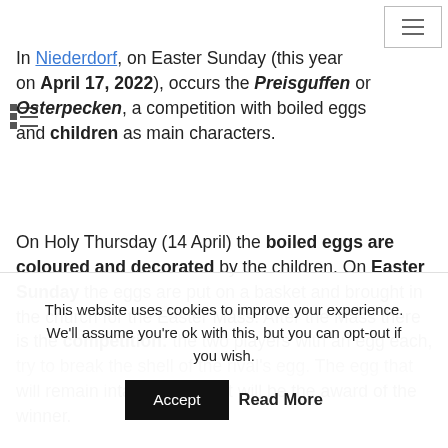In Niederdorf, on Easter Sunday (this year on April 17, 2022), occurs the Preisguffen or Osterpecken, a competition with boiled eggs and children as main characters.
On Holy Thursday (14 April) the boiled eggs are coloured and decorated by the children. On Easter Sunday the eggs are put on a basket and brought in the church for the Easter Mass. After the Mass there is the competition: the two players with an egg each, try to break the shell of the rival's egg. The egg that will remain intact wins and it will be the award of the winner.
This website uses cookies to improve your experience. We'll assume you're ok with this, but you can opt-out if you wish. Accept Read More